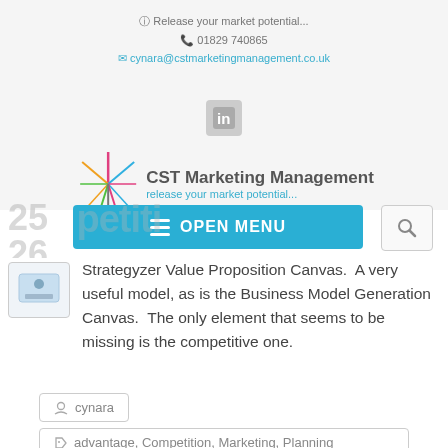Release your market potential... | 01829 740865 | cynara@cstmarketingmanagement.co.uk
[Figure (logo): CST Marketing Management logo with starburst graphic and tagline 'release your market potential...']
[Figure (infographic): Open Menu navigation button (blue) and search icon box]
Strategyzer Value Proposition Canvas. A very useful model, as is the Business Model Generation Canvas. The only element that seems to be missing is the competitive one.
cynara
advantage, Competition, Marketing, Planning